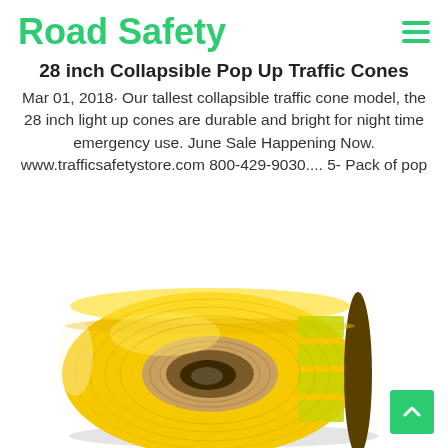Road Safety
28 inch Collapsible Pop Up Traffic Cones
Mar 01, 2018· Our tallest collapsible traffic cone model, the 28 inch light up cones are durable and bright for night time emergency use. June Sale Happening Now. www.trafficsafetystore.com 800-429-9030.... 5- Pack of pop
[Figure (photo): A roll of yellow reflective tape/barrier tape on a cardboard core, partially unrolled, viewed from a slight angle showing the roll face and the reflective yellow surface.]